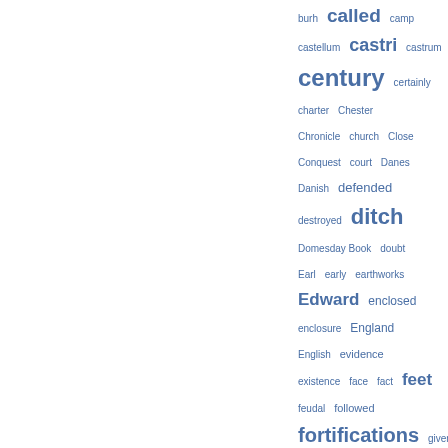[Figure (other): Tag cloud / word cloud showing index terms in varying font sizes, all in blue. Terms include: burh, called, camp, castellum, castri, castrum, century, certainly, charter, Chester, Chronicle, church, Close, Conquest, court, Danes, Danish, defended, destroyed, ditch, Domesday Book, doubt, Earl, early, earthworks, Edward, enclosed, enclosure, England, English, evidence, existence, face, fact, feet, feudal, followed, fortifications, given, gives, held, Henry, hill, History, houses, important]